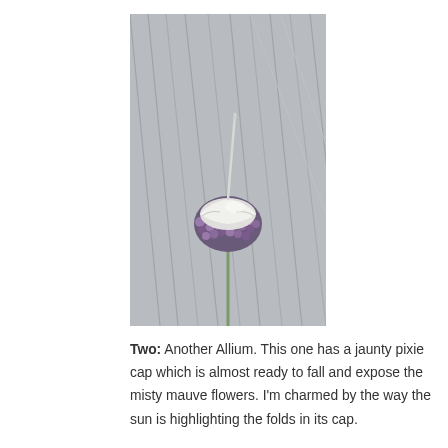[Figure (photo): Close-up photograph of an Allium flower head with small purple/mauve buds and a white papery spathe (pixie cap) still partially covering the top, with a pointed tip sticking upward. The background shows grey vertical siding or lines. The stem is a thin green stalk.]
Two: Another Allium. This one has a jaunty pixie cap which is almost ready to fall and expose the misty mauve flowers. I'm charmed by the way the sun is highlighting the folds in its cap.